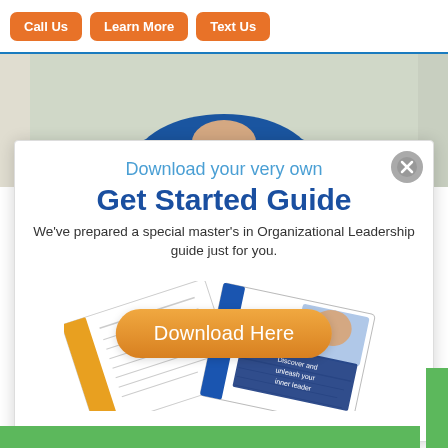Call Us | Learn More | Text Us
[Figure (photo): Person wearing a blue shirt, cropped to show neck and torso]
Download your very own
Get Started Guide
We've prepared a special master's in Organizational Leadership guide just for you.
[Figure (illustration): Booklet/guide document fanned out showing pages with text and an orange cover]
Download Here
Discover and unleash your inner leader